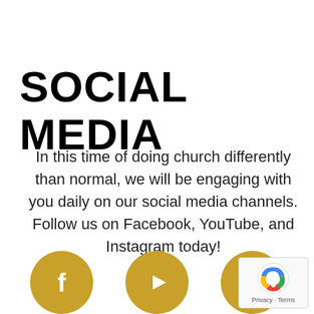SOCIAL MEDIA
In this time of doing church differently than normal, we will be engaging with you daily on our social media channels. Follow us on Facebook, YouTube, and Instagram today!
[Figure (illustration): Three golden circular social media icons at the bottom: Facebook (f logo), YouTube (play button), and Instagram (camera logo). A reCAPTCHA badge appears in the bottom-right corner.]